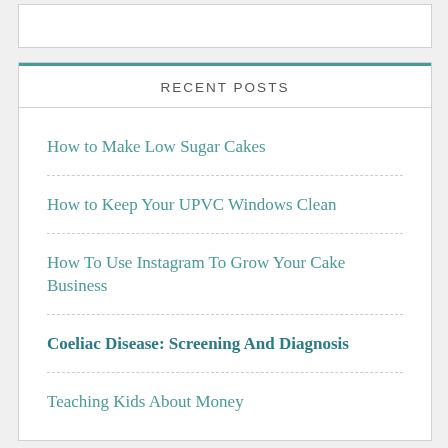RECENT POSTS
How to Make Low Sugar Cakes
How to Keep Your UPVC Windows Clean
How To Use Instagram To Grow Your Cake Business
Coeliac Disease: Screening And Diagnosis
Teaching Kids About Money